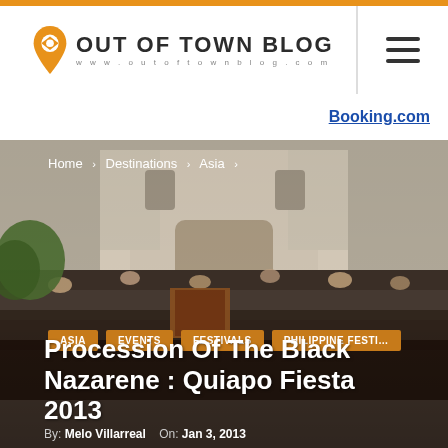[Figure (logo): Out Of Town Blog logo with orange map pin icon and text 'OUT OF TOWN BLOG' and 'www.outoftownblog.com']
Booking.com
[Figure (photo): Aerial view of a massive crowd gathered in front of a colonial-era church (Quiapo Church) in Manila, Philippines during the Black Nazarene procession 2013]
Home › Destinations › Asia ›
ASIA
EVENTS
FESTIVALS
PHILIPPINE FESTI…
Procession Of The Black Nazarene : Quiapo Fiesta 2013
By: Melo Villarreal   On: Jan 3, 2013